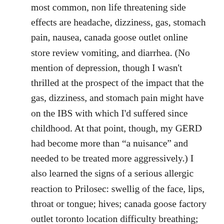most common, non life threatening side effects are headache, dizziness, gas, stomach pain, nausea, canada goose outlet online store review vomiting, and diarrhea. (No mention of depression, though I wasn't thrilled at the prospect of the impact that the gas, dizziness, and stomach pain might have on the IBS with which I'd suffered since childhood. At that point, though, my GERD had become more than “a nuisance” and needed to be treated more aggressively.) I also learned the signs of a serious allergic reaction to Prilosec: swellig of the face, lips, throat or tongue; hives; canada goose factory outlet toronto location difficulty breathing; excitedness; hoarseness; muscle canada goose shop uk spasms; shaking; dizziness, irregular, pounding or fast heartbeat, water retention, leg cramps, weakness, feeling extremely tired, sore canada goose outlet vancouver throat with